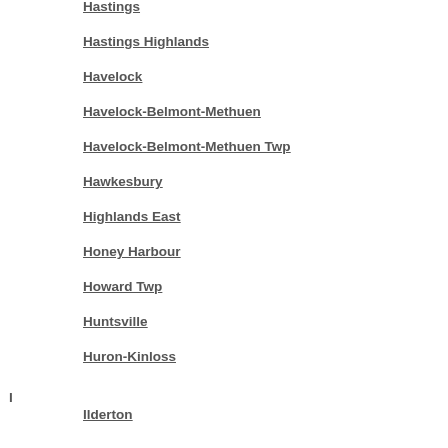Hastings
Hastings Highlands
Havelock
Havelock-Belmont-Methuen
Havelock-Belmont-Methuen Twp
Hawkesbury
Highlands East
Honey Harbour
Howard Twp
Huntsville
Huron-Kinloss
Ilderton
Ingersoll
Ingleside
Innerkip